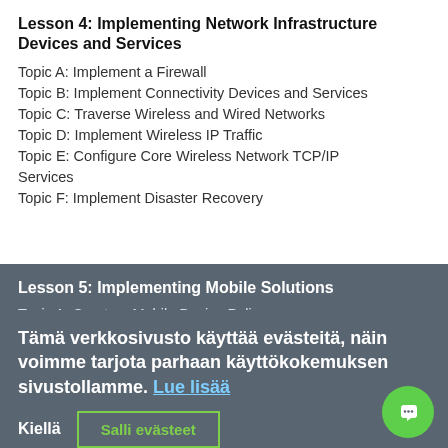Lesson 4: Implementing Network Infrastructure Devices and Services
Topic A: Implement a Firewall
Topic B: Implement Connectivity Devices and Services
Topic C: Traverse Wireless and Wired Networks
Topic D: Implement Wireless IP Traffic
Topic E: Configure Core Wireless Network TCP/IP Services
Topic F: Implement Disaster Recovery
Lesson 5: Implementing Mobile Solutions
Topic A: Create a Mobile Device Policy
Topic B: Align Mobile Device Management to Enterprise Requirements
Topic C: Align Mobile Service Solutions to Enterprise Requirements
Topic D: Align Mobile Infrastructure Management to Enterprise Requirements
Tämä verkkosivusto käyttää evästeitä, näin voimme tarjota parhaan käyttökokemuksen sivustollamme. Lue lisää
Kiellä | Salli evästeet